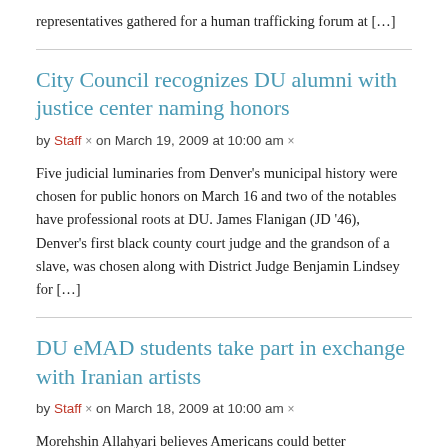representatives gathered for a human trafficking forum at […]
City Council recognizes DU alumni with justice center naming honors
by Staff × on March 19, 2009 at 10:00 am ×
Five judicial luminaries from Denver's municipal history were chosen for public honors on March 16 and two of the notables have professional roots at DU. James Flanigan (JD '46), Denver's first black county court judge and the grandson of a slave, was chosen along with District Judge Benjamin Lindsey for […]
DU eMAD students take part in exchange with Iranian artists
by Staff × on March 18, 2009 at 10:00 am ×
Morehshin Allahyari believes Americans could better understand her home country of Iran, which is why the DU digital media studies graduate student developed an exchange between artists in Tehran and